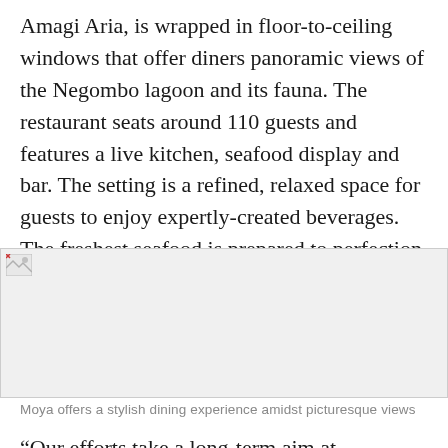Amagi Aria, is wrapped in floor-to-ceiling windows that offer diners panoramic views of the Negombo lagoon and its fauna. The restaurant seats around 110 guests and features a live kitchen, seafood display and bar. The setting is a refined, relaxed space for guests to enjoy expertly-created beverages. The freshest seafood is prepared to perfection, providing a total seafood experience.
[Figure (photo): A broken/unloaded image placeholder representing a photo of Moya restaurant with a stylish dining experience amidst picturesque views.]
Moya offers a stylish dining experience amidst picturesque views
“Our efforts take a long-term aim at showcasing the